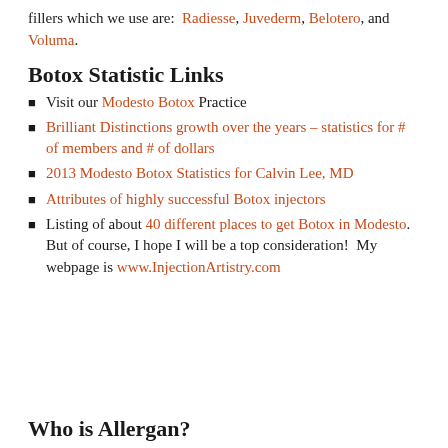fillers which we use are: Radiesse, Juvederm, Belotero, and Voluma.
Botox Statistic Links
Visit our Modesto Botox Practice
Brilliant Distinctions growth over the years – statistics for # of members and # of dollars
2013 Modesto Botox Statistics for Calvin Lee, MD
Attributes of highly successful Botox injectors
Listing of about 40 different places to get Botox in Modesto.  But of course, I hope I will be a top consideration!  My webpage is www.InjectionArtistry.com
Who is Allergan?